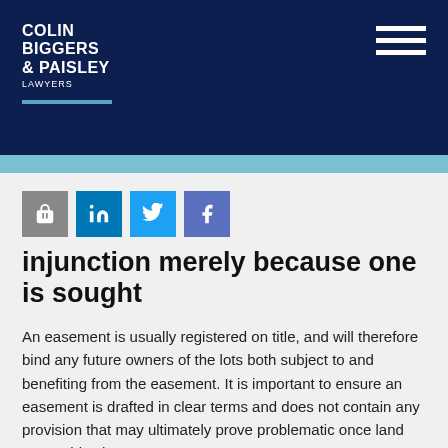Colin Biggers & Paisley Lawyers
[Figure (logo): Colin Biggers & Paisley Lawyers logo in white text on dark navy blue header, with hamburger menu icon on right]
injunction merely because one is sought
An easement is usually registered on title, and will therefore bind any future owners of the lots both subject to and benefiting from the easement. It is important to ensure an easement is drafted in clear terms and does not contain any provision that may ultimately prove problematic once land ownership changes.
This case highlights that the court will not automatically grant an injunction merely because one is sought. The court will consider the